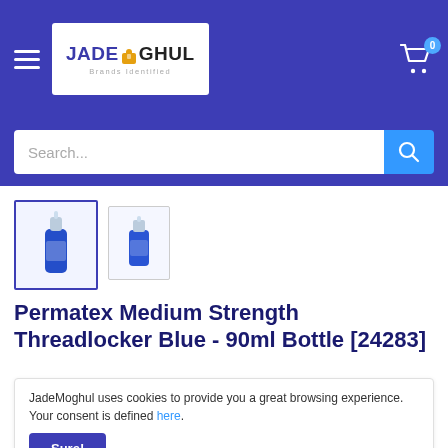JadeMoghul — Brands Identified
[Figure (screenshot): JadeMoghul e-commerce website header with logo, hamburger menu, cart icon with badge '0', and search bar.]
[Figure (photo): Two thumbnail images of Permatex Medium Strength Threadlocker Blue 90ml bottle, first selected with blue border.]
Permatex Medium Strength Threadlocker Blue - 90ml Bottle [24283]
JadeMoghul uses cookies to provide you a great browsing experience. Your consent is defined here.